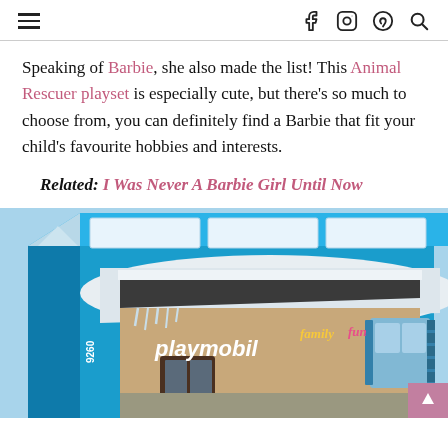Navigation header with hamburger menu and social icons (Facebook, Instagram, Pinterest, Search)
Speaking of Barbie, she also made the list! This Animal Rescuer playset is especially cute, but there's so much to choose from, you can definitely find a Barbie that fit your child's favourite hobbies and interests.
Related: I Was Never A Barbie Girl Until Now
[Figure (photo): Playmobil Family Fun ski chalet toy box (product #9260), bright blue packaging showing a snow-covered alpine chalet with blue shutters and the Playmobil Family Fun branding.]